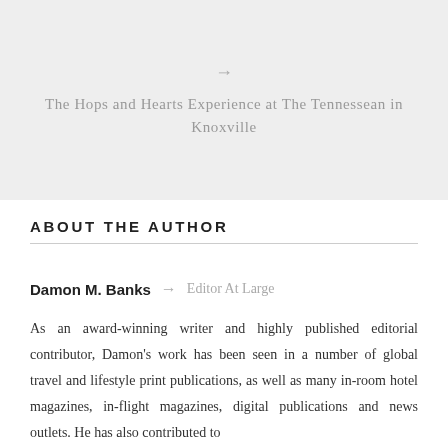Restaurant NYC
→
The Hops and Hearts Experience at The Tennessean in Knoxville
ABOUT THE AUTHOR
Damon M. Banks → Editor At Large
As an award-winning writer and highly published editorial contributor, Damon's work has been seen in a number of global travel and lifestyle print publications, as well as many in-room hotel magazines, in-flight magazines, digital publications and news outlets. He has also contributed to